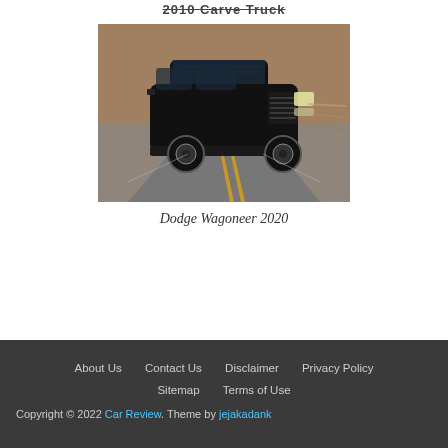2010 Carve Truck
[Figure (photo): A black SUV/truck driving on a winding road with blurred motion background — Dodge Wagoneer 2020]
Dodge Wagoneer 2020
About Us   Contact Us   Disclaimer   Privacy Policy   Sitemap   Terms of Use   Copyright © 2022 Car Review. Theme by jejakadank